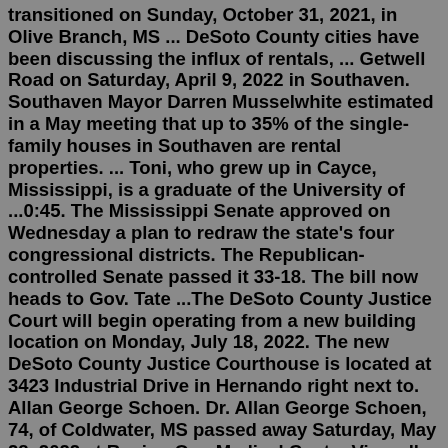transitioned on Sunday, October 31, 2021, in Olive Branch, MS ... DeSoto County cities have been discussing the influx of rentals, ... Getwell Road on Saturday, April 9, 2022 in Southaven. Southaven Mayor Darren Musselwhite estimated in a May meeting that up to 35% of the single-family houses in Southaven are rental properties. ... Toni, who grew up in Cayce, Mississippi, is a graduate of the University of ...0:45. The Mississippi Senate approved on Wednesday a plan to redraw the state's four congressional districts. The Republican-controlled Senate passed it 33-18. The bill now heads to Gov. Tate ...The DeSoto County Justice Court will begin operating from a new building location on Monday, July 18, 2022. The new DeSoto County Justice Courthouse is located at 3423 Industrial Drive in Hernando right next to. Allan George Schoen. Dr. Allan George Schoen, 74, of Coldwater, MS passed away Saturday, May 28, 2022 at Region One Medical Center.View all calendars is the default. Choose Select a Calendar to view a specific calendar.. The DeSoto